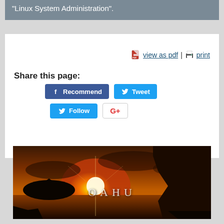"Linux System Administration".
view as pdf | print
Share this page:
[Figure (screenshot): Social share buttons: Recommend (Facebook), Tweet (Twitter), Follow (Twitter), G+ (Google Plus)]
[Figure (photo): Sunset photo over ocean with rocky cliffs. Text 'OAHU' overlaid in center.]